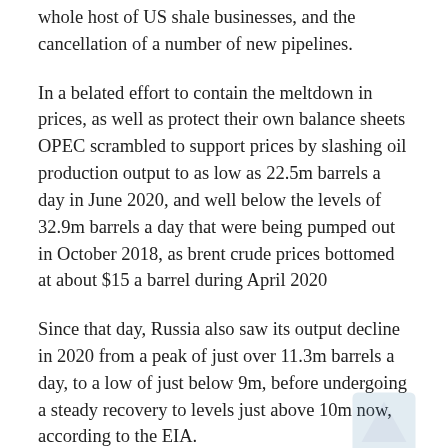whole host of US shale businesses, and the cancellation of a number of new pipelines.
In a belated effort to contain the meltdown in prices, as well as protect their own balance sheets OPEC scrambled to support prices by slashing oil production output to as low as 22.5m barrels a day in June 2020, and well below the levels of 32.9m barrels a day that were being pumped out in October 2018, as brent crude prices bottomed at about $15 a barrel during April 2020
Since that day, Russia also saw its output decline in 2020 from a peak of just over 11.3m barrels a day, to a low of just below 9m, before undergoing a steady recovery to levels just above 10m now, according to the EIA.
Having been horribly burned in the early part of 2020